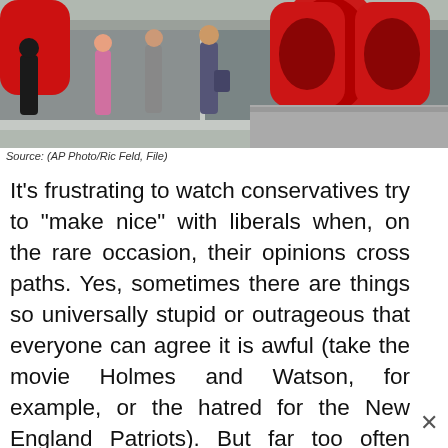[Figure (photo): People walking outside a building with large red sculptural letters visible in background]
Source: (AP Photo/Ric Feld, File)
It’s frustrating to watch conservatives try to “make nice” with liberals when, on the rare occasion, their opinions cross paths. Yes, sometimes there are things so universally stupid or outrageous that everyone can agree it is awful (take the movie Holmes and Watson, for example, or the hatred for the New England Patriots). But far too often conservatives think this moment of comity means that deep-down we can get along with the progressive left. We can’t. Activist leftists will stab you in the back, front, or side any and every chance